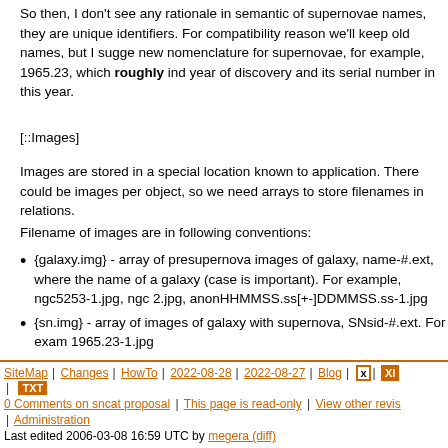So then, I don't see any rationale in semantic of supernovae names, they are unique identifiers. For compatibility reason we'll keep old names, but I suggest new nomenclature for supernovae, for example, 1965.23, which roughly indicates year of discovery and its serial number in this year.
[::Images]
Images are stored in a special location known to application. There could be images per object, so we need arrays to store filenames in relations.
Filename of images are in following conventions:
{galaxy.img} - array of presupernova images of galaxy, name-#.ext, where the name of a galaxy (case is important). For example, ngc5253-1.jpg, ngc 2.jpg, anonHHMMSS.ss[+-]DDMMSS.ss-1.jpg
{sn.img} - array of images of galaxy with supernova, SNsid-#.ext. For example, 1965.23-1.jpg
SiteMap | Changes | HowTo | 2022-08-28 | 2022-08-27 | Blog | X | XI | TXT | 0 Comments on sncat proposal | This page is read-only | View other revisions | Administration | Last edited 2006-03-08 16:59 UTC by megera (diff)
Search: Go!
©Zen,